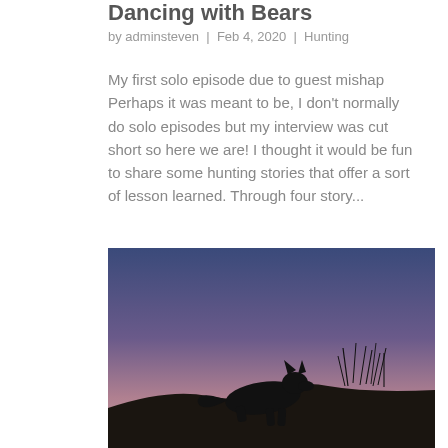Dancing with Bears
by adminsteven | Feb 4, 2020 | Hunting
My first solo episode due to guest mishap Perhaps it was meant to be, I don't normally do solo episodes but my interview was cut short so here we are! I thought it would be fun to share some hunting stories that offer a sort of lesson learned. Through four story...
[Figure (photo): Silhouette of a fox or wolf-like animal crouching on a dark hilltop at dusk/twilight, with sparse grass silhouetted on the right, against a gradient sky from deep blue at top to pink/purple near the horizon.]